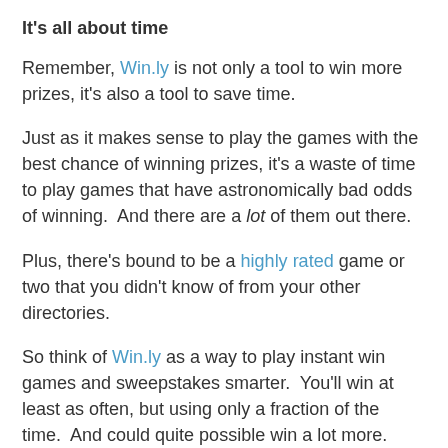It's all about time
Remember, Win.ly is not only a tool to win more prizes, it's also a tool to save time.
Just as it makes sense to play the games with the best chance of winning prizes, it's a waste of time to play games that have astronomically bad odds of winning.  And there are a lot of them out there.
Plus, there's bound to be a highly rated game or two that you didn't know of from your other directories.
So think of Win.ly as a way to play instant win games and sweepstakes smarter.  You'll win at least as often, but using only a fraction of the time.  And could quite possible win a lot more.
Plus, you'll play more consistently  The Win.ly tool makes it easy to track when you last played an instant win and make sure you hit it every day.  It also makes it easy to flag a set of